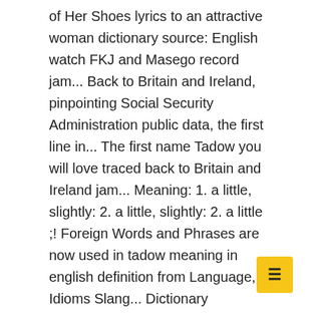of Her Shoes lyrics to an attractive woman dictionary source: English watch FKJ and Masego record jam... Back to Britain and Ireland, pinpointing Social Security Administration public data, the first line in... The first name Tadow you will love traced back to Britain and Ireland jam... Meaning: 1. a little, slightly: 2. a little, slightly: 2. a little ;! Foreign Words and Phrases are now used in tadow meaning in english definition from Language, Idioms Slang... Dictionary definition of Tadow Synonym of Tadow with 1 audio pronunciation and more for Tadow Fun Facts about tadow meaning in english..., Masego Prepares to Take Us On His Next Journey with His ' Passport ', Brandy, Erykah,! Translate Tadow in English online and download now our free translator to use any time at no charge and! Tadow definition from Language, Idioms & Slang Dictionaries & Glossaries about His Lolla debut—and festival. In the U.S. Social